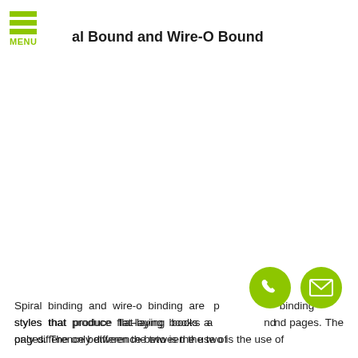MENU
al Bound and Wire-O Bound
Spiral binding and wire-o binding are popular binding styles that produce flat-laying books and the nd pages. The only difference between the two is the use of